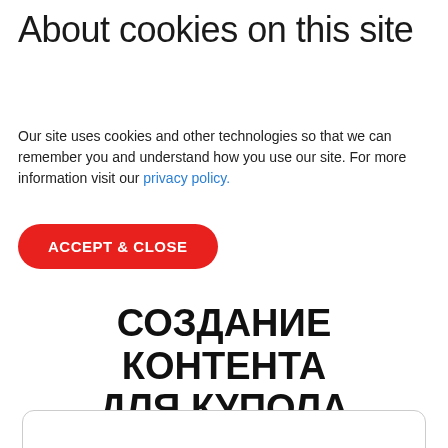About cookies on this site
Our site uses cookies and other technologies so that we can remember you and understand how you use our site. For more information visit our privacy policy.
ACCEPT & CLOSE
СОЗДАНИЕ КОНТЕНТА ДЛЯ КУПОЛА В СТУДИИ ПОЛНОГО ЦИКЛА